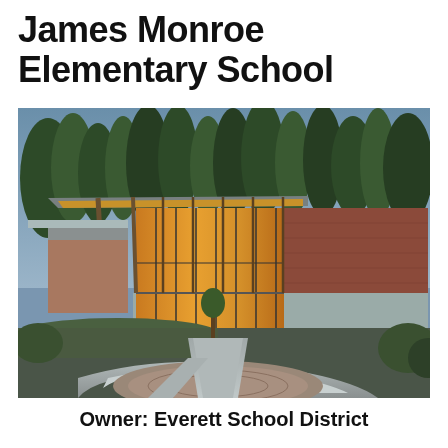James Monroe Elementary School
[Figure (photo): Exterior photograph of James Monroe Elementary School at dusk, showing a modern building with a large glass-curtain-wall facade illuminated from inside, a curved concrete amphitheater seating area in the foreground, a covered walkway with wooden beam canopy, brick walls, and tall evergreen trees in the background under a blue-grey sky.]
Owner: Everett School District